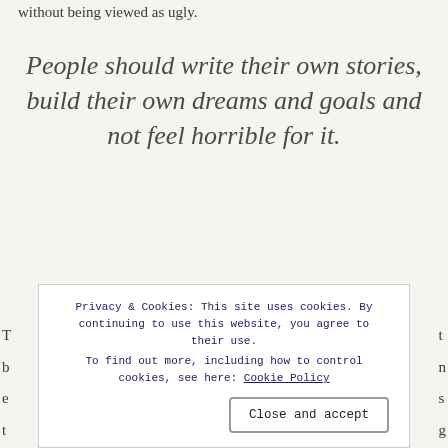without being viewed as ugly.
People should write their own stories, build their own dreams and goals and not feel horrible for it.
Advertisements
[Figure (other): Advertisement box with text 'Professionally designed sites in less than a week' and WordPress logo]
Privacy & Cookies: This site uses cookies. By continuing to use this website, you agree to their use. To find out more, including how to control cookies, see here: Cookie Policy
Close and accept